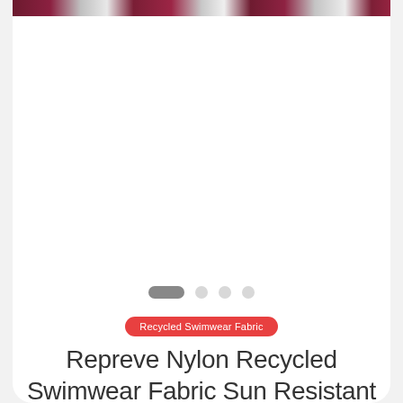[Figure (photo): Product image strip showing swimwear fabric in dark red/maroon and white/grey colors at the top of a product card]
[Figure (other): Carousel navigation dots: one elongated active dot (dark grey) followed by three inactive circular dots (light grey)]
Recycled Swimwear Fabric
Repreve Nylon Recycled Swimwear Fabric Sun Resistant 370GSM